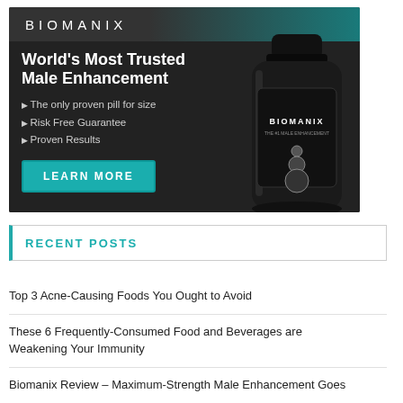[Figure (illustration): Biomanix advertisement banner with dark background. Shows 'BIOMANIX' logo at top, headline 'World's Most Trusted Male Enhancement', bullet points listing product benefits, a 'LEARN MORE' teal button, and a product bottle image on the right.]
RECENT POSTS
Top 3 Acne-Causing Foods You Ought to Avoid
These 6 Frequently-Consumed Food and Beverages are Weakening Your Immunity
Biomanix Review – Maximum-Strength Male Enhancement Goes